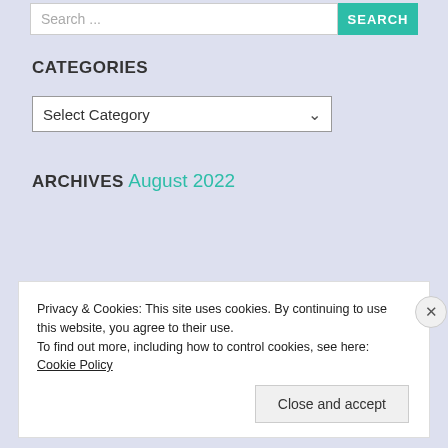Search ...
CATEGORIES
Select Category
ARCHIVES
August 2022
Privacy & Cookies: This site uses cookies. By continuing to use this website, you agree to their use.
To find out more, including how to control cookies, see here: Cookie Policy
Close and accept